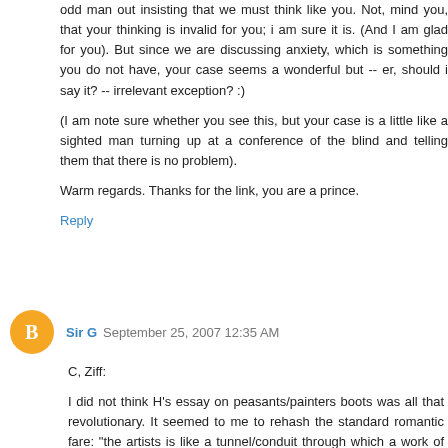odd man out insisting that we must think like you. Not, mind you, that your thinking is invalid for you; i am sure it is. (And I am glad for you). But since we are discussing anxiety, which is something you do not have, your case seems a wonderful but -- er, should i say it? -- irrelevant exception? :)
(I am note sure whether you see this, but your case is a little like a sighted man turning up at a conference of the blind and telling them that there is no problem).
Warm regards. Thanks for the link, you are a prince.
Reply
Sir G  September 25, 2007 12:35 AM
C, Ziff:
I did not think H's essay on peasants/painters boots was all that revolutionary. It seemed to me to rehash the standard romantic fare: "the artists is like a tunnel/conduit through which a work of art labors itself into daylight" etc.